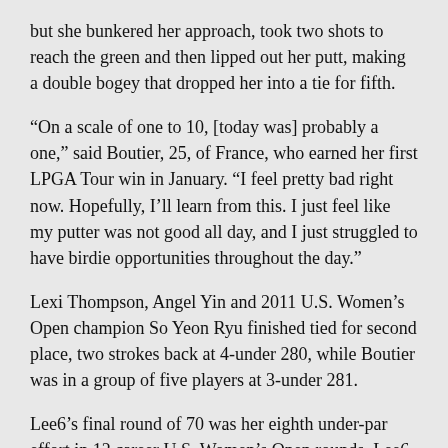but she bunkered her approach, took two shots to reach the green and then lipped out her putt, making a double bogey that dropped her into a tie for fifth.
“On a scale of one to 10, [today was] probably a one,” said Boutier, 25, of France, who earned her first LPGA Tour win in January. “I feel pretty bad right now. Hopefully, I’ll learn from this. I just feel like my putter was not good all day, and I just struggled to have birdie opportunities throughout the day.”
Lexi Thompson, Angel Yin and 2011 U.S. Women’s Open champion So Yeon Ryu finished tied for second place, two strokes back at 4-under 280, while Boutier was in a group of five players at 3-under 281.
Lee6’s final round of 70 was her eighth under-par effort in 12 career U.S. Women’s Open rounds. Lee6 finished fifth in her championship debut in 2017 at Trump Bedminster and tied for 17th last year at Shoal Creek.